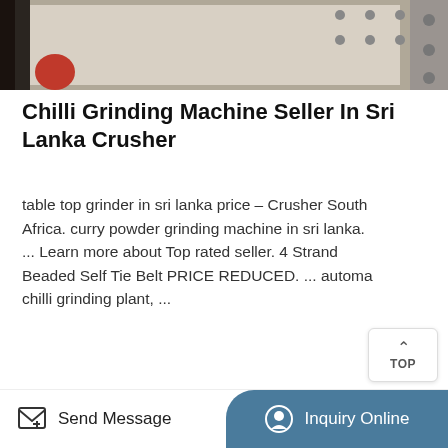[Figure (photo): Top portion of industrial grinding/crushing machine, metallic gray surface with bolts visible]
Chilli Grinding Machine Seller In Sri Lanka Crusher
table top grinder in sri lanka price – Crusher South Africa. curry powder grinding machine in sri lanka. ... Learn more about Top rated seller. 4 Strand Beaded Self Tie Belt PRICE REDUCED. ... automa chilli grinding plant, ...
[Figure (photo): Industrial jaw crusher with large red and white flywheels in a factory setting]
Send Message   Inquiry Online